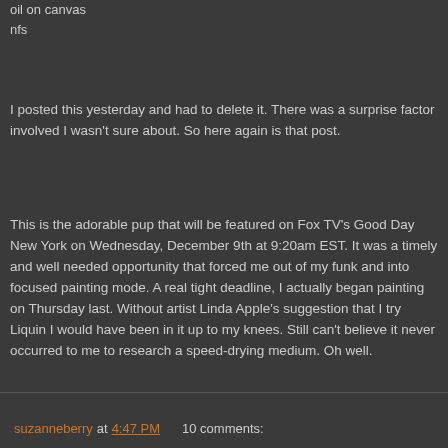oil on canvas
nfs
I posted this yesterday and had to delete it. There was a surprise factor involved I wasn't sure about. So here again is that post.
This is the adorable pup that will be featured on Fox TV's Good Day New York on Wednesday, December 9th at 9:20am EST. It was a timely and well needed opportunity that forced me out of my funk and into focused painting mode. A real tight deadline, I actually began painting on Thursday last. Without artist Linda Apple's suggestion that I try Liquin I would have been in it up to my knees. Still can't believe it never occurred to me to research a speed-drying medium. Oh well.
suzanneberry at 4:47 PM   10 comments: